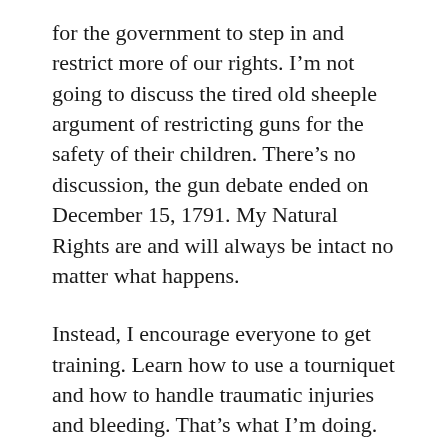for the government to step in and restrict more of our rights. I'm not going to discuss the tired old sheeple argument of restricting guns for the safety of their children. There's no discussion, the gun debate ended on December 15, 1791. My Natural Rights are and will always be intact no matter what happens.
Instead, I encourage everyone to get training. Learn how to use a tourniquet and how to handle traumatic injuries and bleeding. That's what I'm doing. These tragedies are going to continue as time goes on. Be prepared.
Remember, the Second Amendment is the last stumbling block in the way towards total control of this country. This the final nut they